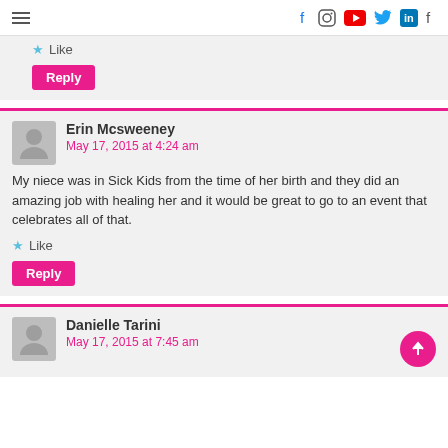Navigation bar with hamburger menu and social icons: f (Facebook), Instagram, YouTube, Twitter, LinkedIn, f
Like  Reply
Erin Mcsweeney
May 17, 2015 at 4:24 am
My niece was in Sick Kids from the time of her birth and they did an amazing job with healing her and it would be great to go to an event that celebrates all of that.
Like  Reply
Danielle Tarini
May 17, 2015 at 7:45 am